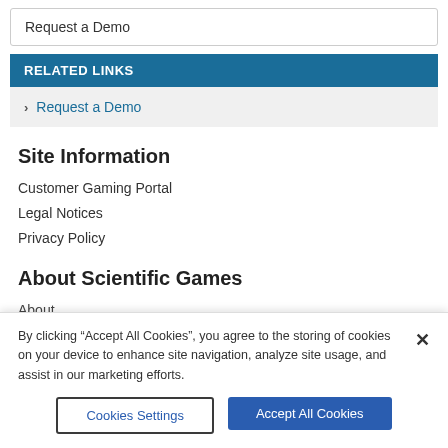Request a Demo
RELATED LINKS
> Request a Demo
Site Information
Customer Gaming Portal
Legal Notices
Privacy Policy
About Scientific Games
About
By clicking “Accept All Cookies”, you agree to the storing of cookies on your device to enhance site navigation, analyze site usage, and assist in our marketing efforts.
Cookies Settings
Accept All Cookies